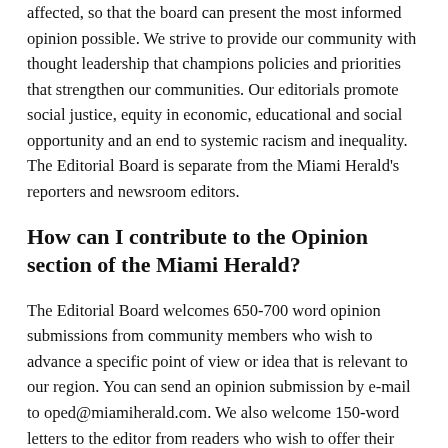affected, so that the board can present the most informed opinion possible. We strive to provide our community with thought leadership that champions policies and priorities that strengthen our communities. Our editorials promote social justice, equity in economic, educational and social opportunity and an end to systemic racism and inequality. The Editorial Board is separate from the Miami Herald's reporters and newsroom editors.
How can I contribute to the Opinion section of the Miami Herald?
The Editorial Board welcomes 650-700 word opinion submissions from community members who wish to advance a specific point of view or idea that is relevant to our region. You can send an opinion submission by e-mail to oped@miamiherald.com. We also welcome 150-word letters to the editor from readers who wish to offer their views on current issues. For more information on how to submit a letter, go to here.